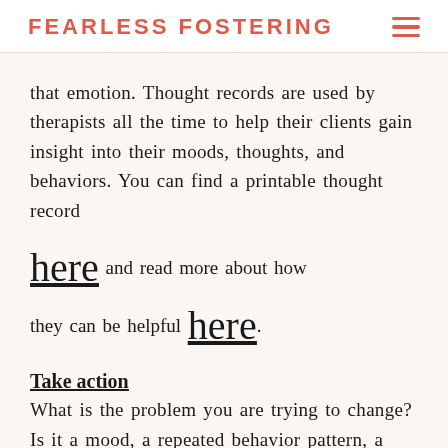FEARLESS FOSTERING
that emotion. Thought records are used by therapists all the time to help their clients gain insight into their moods, thoughts, and behaviors. You can find a printable thought record here and read more about how they can be helpful here.
Take action
What is the problem you are trying to change? Is it a mood, a repeated behavior pattern, a difficult